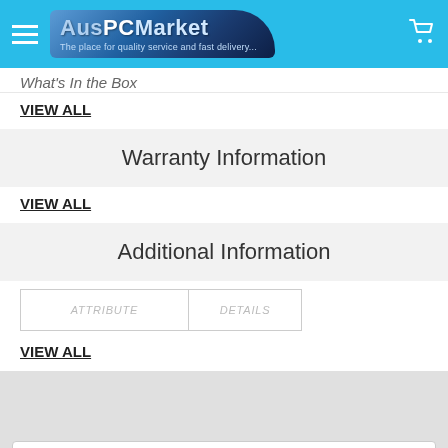[Figure (screenshot): AusPCMarket website navigation bar with hamburger menu, logo, and cart icon on a light blue background]
What's In the Box
VIEW ALL
Warranty Information
VIEW ALL
Additional Information
VIEW ALL
POPULAR BRANDS